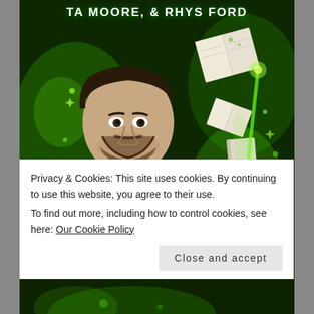[Figure (illustration): Book cover for 'BAD,' by TA Moore & Rhys Ford. Features a man in a leather jacket and white sweater against a vibrant green magical background with floating books and green sparkles/glowing effects.]
TA MOORE, & RHYS FORD
BAD,
Privacy & Cookies: This site uses cookies. By continuing to use this website, you agree to their use.
To find out more, including how to control cookies, see here: Our Cookie Policy
Close and accept